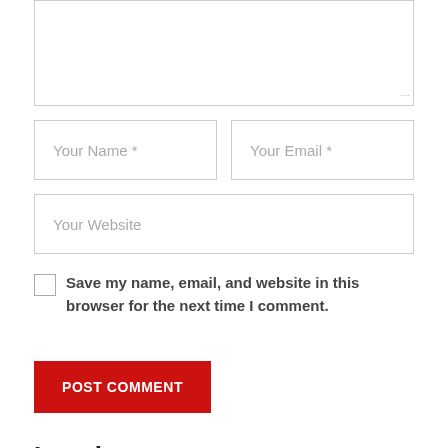[Figure (screenshot): Comment form textarea (top portion visible), with resize handle in bottom-right corner]
[Figure (screenshot): Two input fields side by side: 'Your Name *' and 'Your Email *']
[Figure (screenshot): Website input field labeled 'Your Website']
Save my name, email, and website in this browser for the next time I comment.
POST COMMENT
Local
Warning for those who live in Kalu River Basin